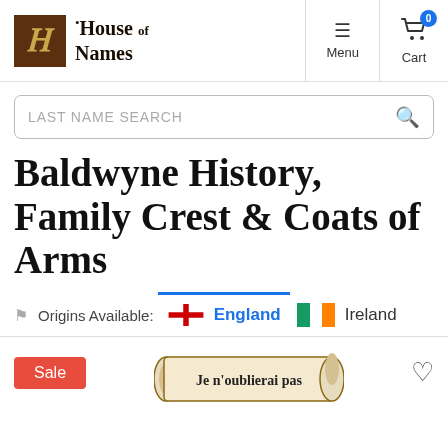House of Names — Menu — Cart (0)
LAST NAME SEARCH
Baldwyne History, Family Crest & Coats of Arms
Origins Available: England  Ireland
[Figure (other): Sale label and Je n'oublierai pas scroll banner with heart icon]